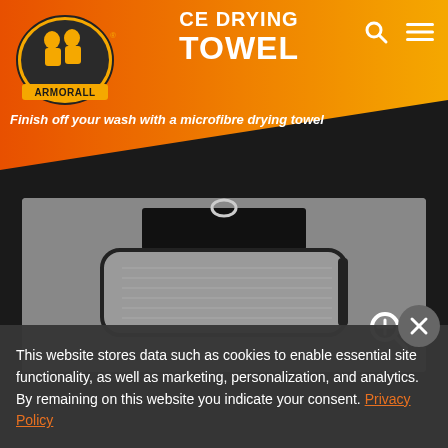[Figure (screenshot): Armor All website header with orange diagonal background, logo, title 'MICROFIBRE DRYING TOWEL', subtitle, and product image]
MICROFIBRE DRYING TOWEL
Finish off your wash with a microfibre drying towel
[Figure (photo): Armor All microfibre drying towel product photo on grey background with zoom icon]
This website stores data such as cookies to enable essential site functionality, as well as marketing, personalization, and analytics. By remaining on this website you indicate your consent. Privacy Policy